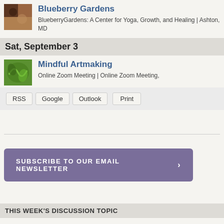Blueberry Gardens
BlueberryGardens: A Center for Yoga, Growth, and Healing | Ashton, MD
Sat, September 3
Mindful Artmaking
Online Zoom Meeting | Online Zoom Meeting,
RSS
Google
Outlook
Print
SUBSCRIBE TO OUR EMAIL NEWSLETTER ›
THIS WEEK'S DISCUSSION TOPIC